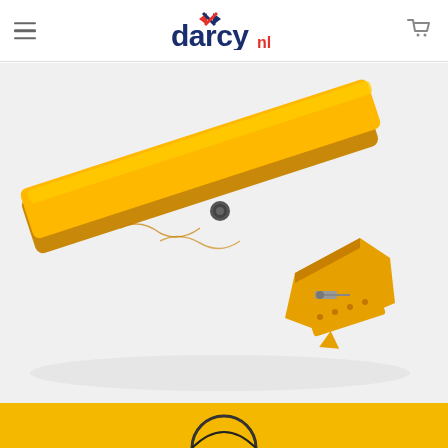darcy.nl — navigation header with hamburger menu and cart icon
[Figure (photo): Close-up photo of a yellow inflatable flood barrier (PVC/coated fabric tube) on a white background. The barrier is elongated and tubular, lying diagonally. One end visible on the lower right shows a metal fastening mechanism with a pin/toggle and a flat yellow base plate with mounting holes. A small circular valve or button is visible on the top surface near the middle.]
[Figure (photo): Bottom strip showing partial view of a dark circular object and yellow background, likely a thumbnail or related product image strip.]